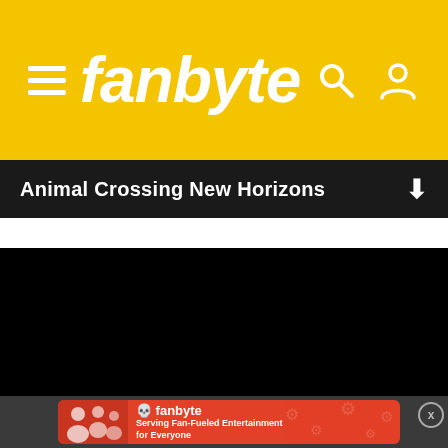fanbyte
Animal Crossing New Horizons
[Figure (screenshot): Black video/content area below navigation bar]
[Figure (infographic): Fanbyte advertisement banner with orange/red background, people playing games on left, fanbyte skull logo and tagline 'Serving Fan-Fueled Entertainment for Everyone']